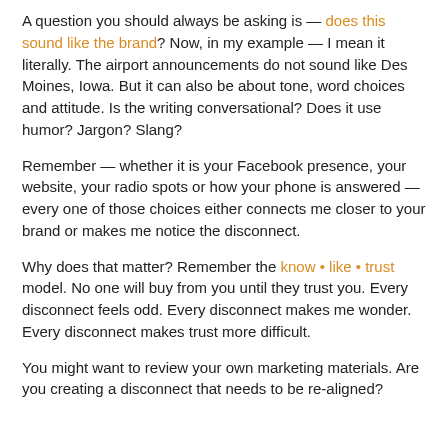A question you should always be asking is — does this sound like the brand? Now, in my example — I mean it literally.  The airport announcements do not sound like Des Moines, Iowa.  But it can also be about tone, word choices and attitude.  Is the writing conversational?  Does it use humor? Jargon? Slang?
Remember — whether it is your Facebook presence, your website, your radio spots or how your phone is answered — every one of those choices either connects me closer to your brand or makes me notice the disconnect.
Why does that matter?  Remember the know • like • trust model.  No one will buy from you until they trust you.  Every disconnect feels odd.  Every disconnect makes me wonder. Every disconnect makes trust more difficult.
You might want to review your own marketing materials.  Are you creating a disconnect that needs to be re-aligned?